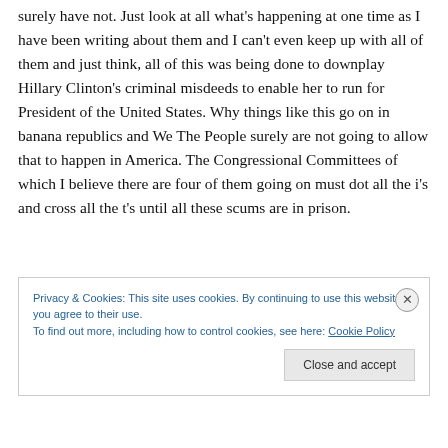surely have not. Just look at all what's happening at one time as I have been writing about them and I can't even keep up with all of them and just think, all of this was being done to downplay Hillary Clinton's criminal misdeeds to enable her to run for President of the United States. Why things like this go on in banana republics and We The People surely are not going to allow that to happen in America. The Congressional Committees of which I believe there are four of them going on must dot all the i's and cross all the t's until all these scums are in prison.
Privacy & Cookies: This site uses cookies. By continuing to use this website, you agree to their use. To find out more, including how to control cookies, see here: Cookie Policy